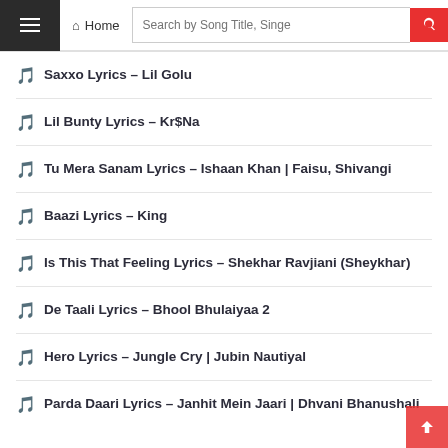Home | Search by Song Title, Singer
Saxxo Lyrics – Lil Golu
Lil Bunty Lyrics – Kr$Na
Tu Mera Sanam Lyrics – Ishaan Khan | Faisu, Shivangi
Baazi Lyrics – King
Is This That Feeling Lyrics – Shekhar Ravjiani (Sheykhar)
De Taali Lyrics – Bhool Bhulaiyaa 2
Hero Lyrics – Jungle Cry | Jubin Nautiyal
Parda Daari Lyrics – Janhit Mein Jaari | Dhvani Bhanushali